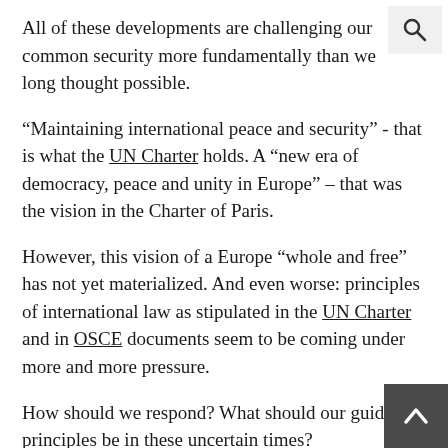All of these developments are challenging our common security more fundamentally than we long thought possible.
“Maintaining international peace and security” - that is what the UN Charter holds. A “new era of democracy, peace and unity in Europe” – that was the vision in the Charter of Paris.
However, this vision of a Europe “whole and free” has not yet materialized. And even worse: principles of international law as stipulated in the UN Charter and in OSCE documents seem to be coming under more and more pressure.
How should we respond? What should our guiding principles be in these uncertain times?
Firstly, let’s face this world with a realistic look, with the look of today not of yesterday. We are not reliving the Cold War, and we shouldn’t talk as if we were. The world of today is different, its conflicts are of a new kind - more complex, with more actors,